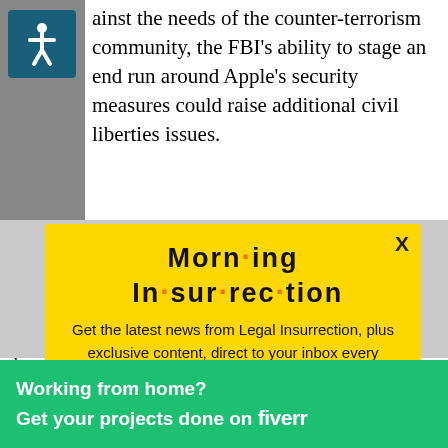ainst the needs of the counter-terrorism community, the FBI's ability to stage an end run around Apple's security measures could raise additional civil liberties issues.
[Figure (screenshot): Morning Insurrection newsletter signup modal with yellow background. Title reads 'Morn·ing In·sur·rec·tion'. Body text: 'Get the latest news from Legal Insurrection, plus exclusive content, direct to your inbox every morning. Subscribe today – it's free!' with an orange JOIN NOW button.]
based solely on the fact that, with the recent as... un... information on the phone," prosecutors said in
[Figure (screenshot): Fiverr advertisement banner: 'Working from home? Get your projects done on fiverr']